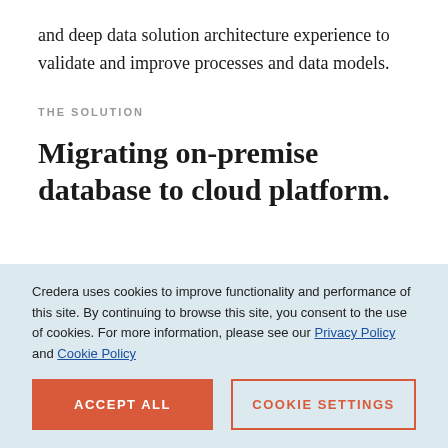and deep data solution architecture experience to validate and improve processes and data models.
THE SOLUTION
Migrating on-premise database to cloud platform.
Credera uses cookies to improve functionality and performance of this site. By continuing to browse this site, you consent to the use of cookies. For more information, please see our Privacy Policy and Cookie Policy
ACCEPT ALL
COOKIE SETTINGS